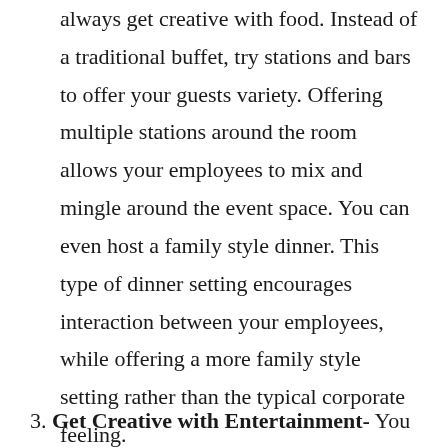always get creative with food. Instead of a traditional buffet, try stations and bars to offer your guests variety. Offering multiple stations around the room allows your employees to mix and mingle around the event space. You can even host a family style dinner. This type of dinner setting encourages interaction between your employees, while offering a more family style setting rather than the typical corporate feeling.
3. Get Creative with Entertainment- You